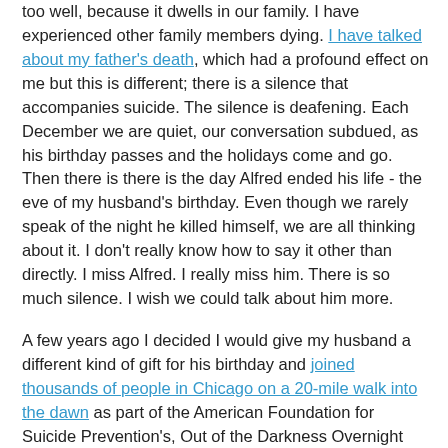too well, because it dwells in our family. I have experienced other family members dying. I have talked about my father's death, which had a profound effect on me but this is different; there is a silence that accompanies suicide. The silence is deafening. Each December we are quiet, our conversation subdued, as his birthday passes and the holidays come and go. Then there is there is the day Alfred ended his life - the eve of my husband's birthday. Even though we rarely speak of the night he killed himself, we are all thinking about it. I don't really know how to say it other than directly. I miss Alfred. I really miss him. There is so much silence. I wish we could talk about him more.
A few years ago I decided I would give my husband a different kind of gift for his birthday and joined thousands of people in Chicago on a 20-mile walk into the dawn as part of the American Foundation for Suicide Prevention's, Out of the Darkness Overnight Walk. Two years later, when he was ready, my husband joined my on the journey Overnight in San Francisco and we walked Out of the Darkness together. Since then, we spend each day combating the silence and stigma that too often accompanies suicide.